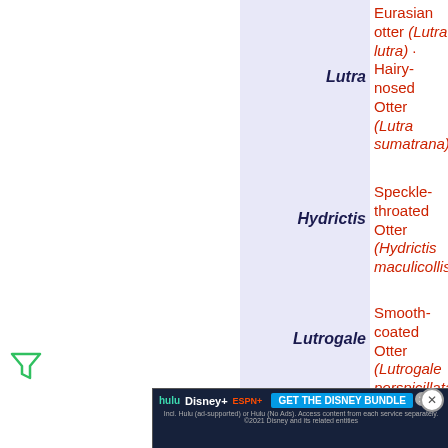Lutra — Eurasian otter (Lutra lutra) · Hairy-nosed Otter (Lutra sumatrana)
Hydrictis — Speckle-throated Otter (Hydrictis maculicollis)
Lutrogale — Smooth-coated Otter (Lutrogale perspicillata)
Pteronura — Giant Otter (Pteronura brasiliensis)
Arctonyx — Hog Badger (Arctonyx collaris)
Meles — Eurasian Badger (Meles meles)
Everett's Ferret Badger (Melogale everetti) ·
[Figure (other): Hulu / Disney+ / ESPN+ GET THE DISNEY BUNDLE advertisement banner]
Melina — (partially visible, cut off)
Javan Ferret-badger (partially visible)